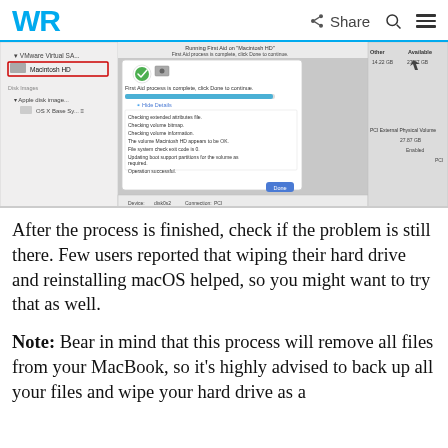WR | Share [search icon] [menu icon]
[Figure (screenshot): macOS Disk Utility screenshot showing First Aid completed on Macintosh HD. A dialog box shows 'First Aid process is complete, click Done to continue.' with a progress bar and log messages: 'Checking extended attributes file. Checking volume bitmap. Checking volume information. The volume Macintosh HD appears to be OK. File system check exit code is 0. Updating boot support partitions for the volume as required. Operation successful.' A Done button is shown. The left sidebar shows VMware Virtual SA and Macintosh HD (highlighted in red). Device: disk0s2, Connection: PCI.]
After the process is finished, check if the problem is still there. Few users reported that wiping their hard drive and reinstalling macOS helped, so you might want to try that as well.
Note: Bear in mind that this process will remove all files from your MacBook, so it's highly advised to back up all your files and wipe your hard drive as a